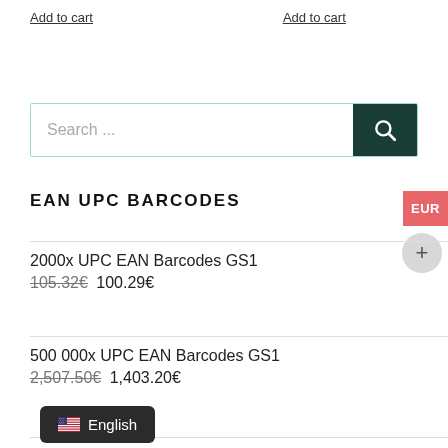Add to cart   Add to cart
[Figure (screenshot): Search bar with teal border and dark green search button with magnifying glass icon]
EAN UPC BARCODES
2000x UPC EAN Barcodes GS1
105.32€ 100.29€
500 000x UPC EAN Barcodes GS1
2,507.50€ 1,403.20€
[Figure (screenshot): Language switcher showing English with US flag on dark rounded rectangle background]